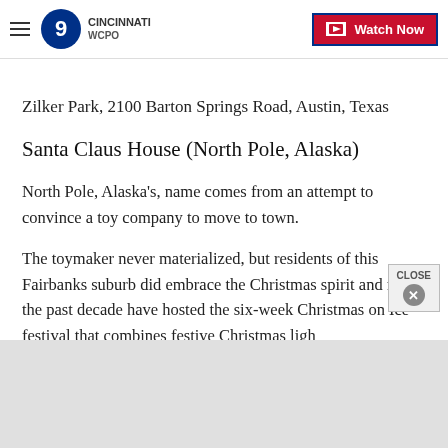WCPO 9 Cincinnati — Watch Now
Zilker Park, 2100 Barton Springs Road, Austin, Texas
Santa Claus House (North Pole, Alaska)
North Pole, Alaska's, name comes from an attempt to convince a toy company to move to town.
The toymaker never materialized, but residents of this Fairbanks suburb did embrace the Christmas spirit and for the past decade have hosted the six-week Christmas on Ice festival that combines festive Christmas lig…